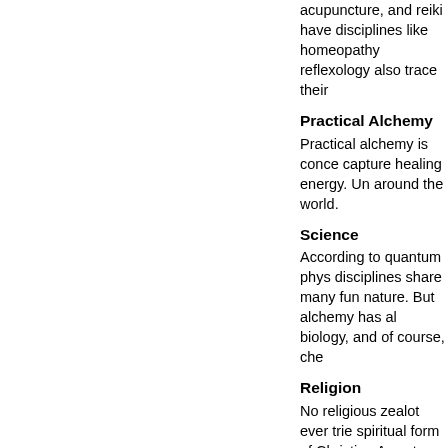acupuncture, and reiki have... disciplines like homeopathy... reflexology also trace their...
Practical Alchemy
Practical alchemy is conce... capture healing energy. Un... around the world.
Science
According to quantum phys... disciplines share many fun... nature. But alchemy has al... biology, and of course, che...
Religion
No religious zealot ever trie... spiritual form of Christian A... center himself within the co... beyond themselves and hu...
Fraternal Organizations
Students and initiates of al... the Kabbalah and Tarot, sh... organizations such as the R... many other groups.
Social Alchemy
Alchemy has become a ra... change adverse conditions... war into peace, and totalita...